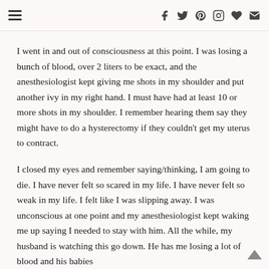Navigation and social icons header
I went in and out of consciousness at this point.  I was losing a bunch of blood, over 2 liters to be exact, and the anesthesiologist kept giving me shots in my shoulder and put another ivy in my right hand.  I must have had at least 10 or more shots in my shoulder.  I remember hearing them say they might have to do a hysterectomy if they couldn't get my uterus to contract.
I closed my eyes and remember saying/thinking, I am going to die.  I have never felt so scared in my life.  I have never felt so weak in my life.  I felt like I was slipping away.  I was unconscious at one point and my anesthesiologist kept waking me up saying I needed to stay with him.  All the while, my husband is watching this go down.  He has me losing a lot of blood and his babies